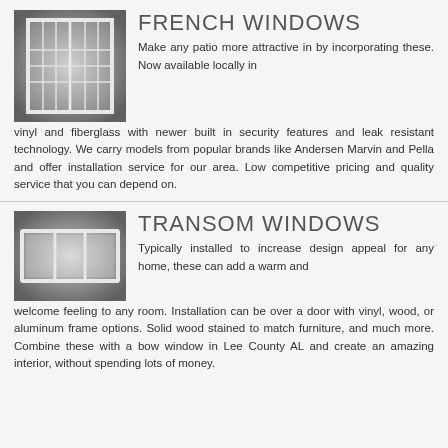[Figure (illustration): French window illustration - two-panel white French window with grid panes on grey gradient background]
FRENCH WINDOWS
Make any patio more attractive in by incorporating these. Now available locally in vinyl and fiberglass with newer built in security features and leak resistant technology. We carry models from popular brands like Andersen Marvin and Pella and offer installation service for our area. Low competitive pricing and quality service that you can depend on.
[Figure (illustration): Transom window illustration - wide horizontal white transom window with three panes on grey gradient background]
TRANSOM WINDOWS
Typically installed to increase design appeal for any home, these can add a warm and welcome feeling to any room. Installation can be over a door with vinyl, wood, or aluminum frame options. Solid wood stained to match furniture, and much more. Combine these with a bow window in Lee County AL and create an amazing interior, without spending lots of money.